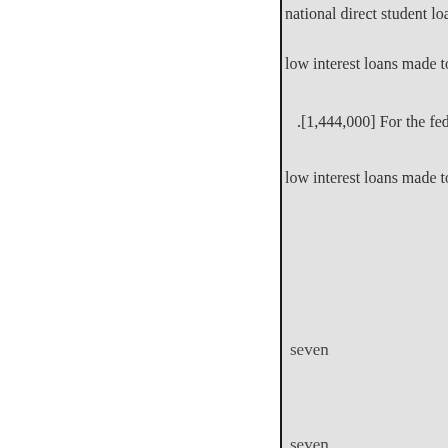national direct student loan prog
low interest loans made to stude
.[1,444,000] For the federal sh
low interest loans made to stude
seven
seven
EXPLANATION-Matter in ita
« Edellinen